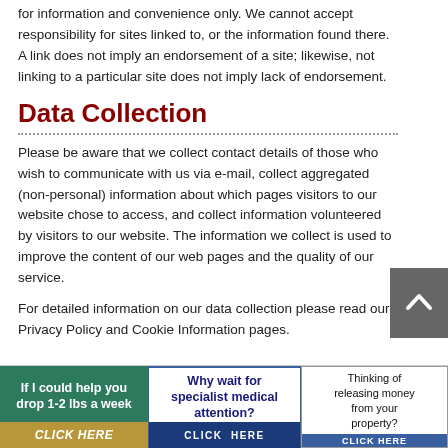for information and convenience only. We cannot accept responsibility for sites linked to, or the information found there. A link does not imply an endorsement of a site; likewise, not linking to a particular site does not imply lack of endorsement.
Data Collection
Please be aware that we collect contact details of those who wish to communicate with us via e-mail, collect aggregated (non-personal) information about which pages visitors to our website chose to access, and collect information volunteered by visitors to our website. The information we collect is used to improve the content of our web pages and the quality of our service.
For detailed information on our data collection please read our Privacy Policy and Cookie Information pages.
[Figure (other): Three advertisement banners at the bottom: (1) green ad 'If I could help you drop 1-2 lbs a week CLICK HERE', (2) blue ad 'Why wait for specialist medical attention? CLICK HERE', (3) 'Thinking of releasing money from your property? CLICK HERE']